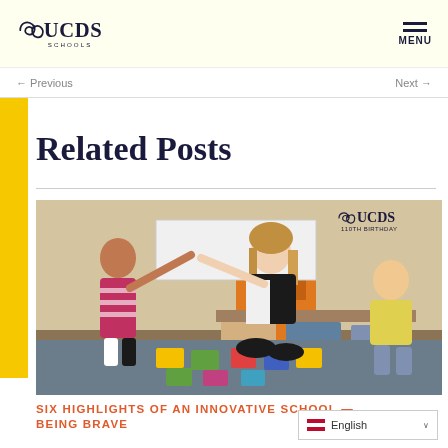UCDS SCHOOLS — MENU
← Previous    Next →
Related Posts
[Figure (photo): Classroom photo showing a teacher and two young students sitting on the floor, with the teacher and one student giving a high-five. Cards are spread on the floor. UCDS 110th Birthday logo visible in top right corner of photo.]
SIX HIGHLIGHTS OF AN INNOVATIVE SCHOOL — BEING BRAVE